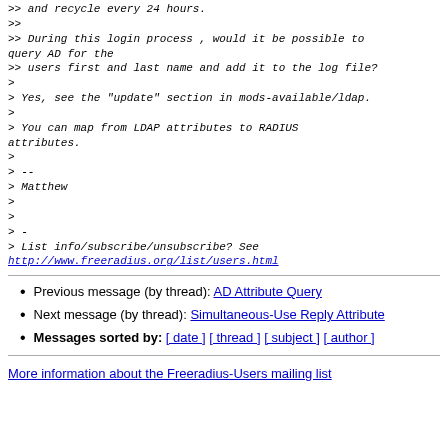>> and recycle every 24 hours.
>>
>> During this login process , would it be possible to query AD for the
>> users first and last name and add it to the log file?
>
> Yes, see the "update" section in mods-available/ldap.
>
> You can map from LDAP attributes to RADIUS attributes.
>
> --
> Matthew
>
>
> -
> List info/subscribe/unsubscribe? See
http://www.freeradius.org/list/users.html
Previous message (by thread): AD Attribute Query
Next message (by thread): Simultaneous-Use Reply Attribute
Messages sorted by: [ date ] [ thread ] [ subject ] [ author ]
More information about the Freeradius-Users mailing list